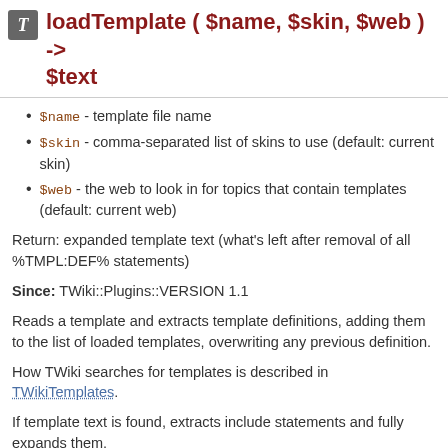loadTemplate ( $name, $skin, $web ) -> $text
$name - template file name
$skin - comma-separated list of skins to use (default: current skin)
$web - the web to look in for topics that contain templates (default: current web)
Return: expanded template text (what's left after removal of all %TMPL:DEF% statements)
Since: TWiki::Plugins::VERSION 1.1
Reads a template and extracts template definitions, adding them to the list of loaded templates, overwriting any previous definition.
How TWiki searches for templates is described in TWikiTemplates.
If template text is found, extracts include statements and fully expands them.